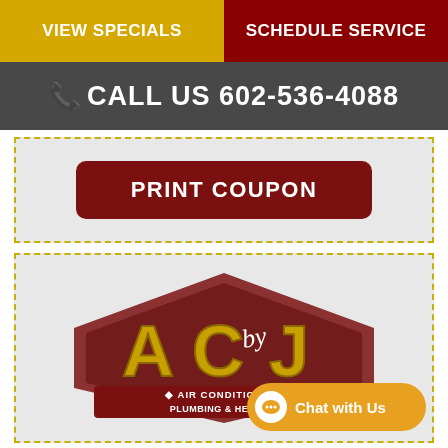VIEW SPECIALS | SCHEDULE SERVICE
CALL US 602-536-4088
[Figure (other): Print Coupon button area with dashed yellow border on grey background]
[Figure (logo): AC by J Air Conditioning Plumbing & Heating logo with gold letters on dark red diamond shape background, with Chat with Us button overlay]